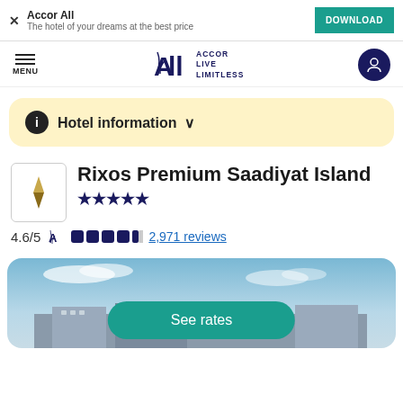Accor All — The hotel of your dreams at the best price — DOWNLOAD
[Figure (logo): Accor ALL Live Limitless logo with navigation menu and profile icon]
Hotel information ˅
Rixos Premium Saadiyat Island ★★★★★
4.6/5  ●●●●◑  2,971 reviews
[Figure (photo): Aerial/exterior photo of Rixos Premium Saadiyat Island hotel with See rates button overlay]